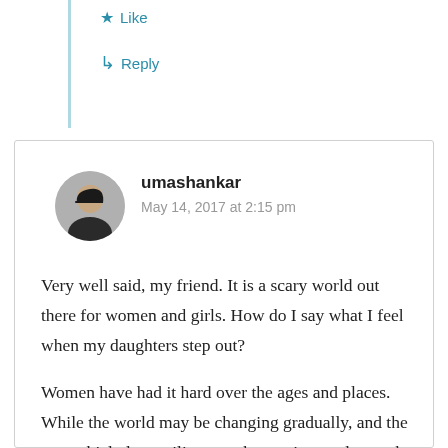★ Like
↳ Reply
umashankar
May 14, 2017 at 2:15 pm
Very well said, my friend. It is a scary world out there for women and girls. How do I say what I feel when my daughters step out?
Women have had it hard over the ages and places. While the world may be changing gradually, and the proverbial glass ceiling may have witnessed a crack or two here and there, our feminist friends would do well to convince certain religions to